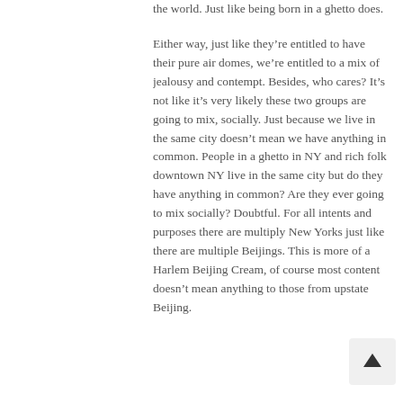the world. Just like being born in a ghetto does.

Either way, just like they’re entitled to have their pure air domes, we’re entitled to a mix of jealousy and contempt. Besides, who cares? It’s not like it’s very likely these two groups are going to mix, socially. Just because we live in the same city doesn’t mean we have anything in common. People in a ghetto in NY and rich folk downtown NY live in the same city but do they have anything in common? Are they ever going to mix socially? Doubtful. For all intents and purposes there are multiply New Yorks just like there are multiple Beijings. This is more of a Harlem Beijing Cream, of course most content doesn’t mean anything to those from upstate Beijing.